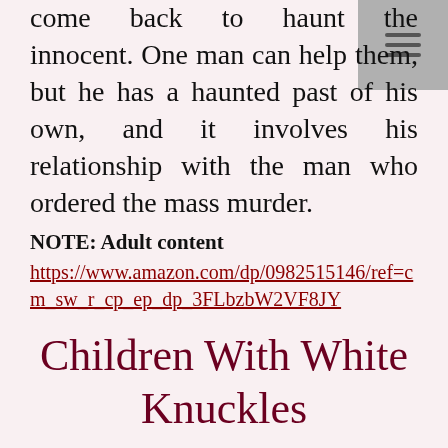come back to haunt the innocent. One man can help them, but he has a haunted past of his own, and it involves his relationship with the man who ordered the mass murder.
NOTE: Adult content
https://www.amazon.com/dp/0982515146/ref=cm_sw_r_cp_ep_dp_3FLbzbW2VF8JY
Children With White Knuckles